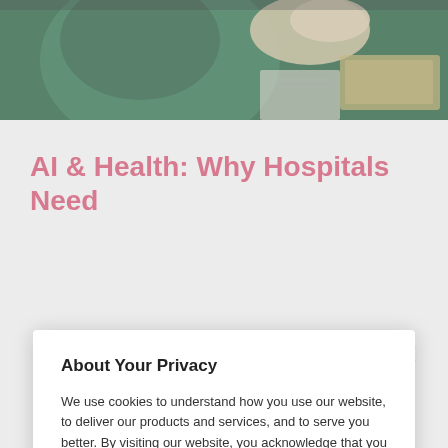[Figure (photo): Partial photo of a medical professional in green surgical gown near a keyboard and papers]
AI & Health: Why Hospitals Need
About Your Privacy

We use cookies to understand how you use our website, to deliver our products and services, and to serve you better. By visiting our website, you acknowledge that you have read and agree to our Privacy Notice.

If you decline, your information won't be tracked when you visit this website. A single cookie will be used in your browser to remember your preference not to be tracked.